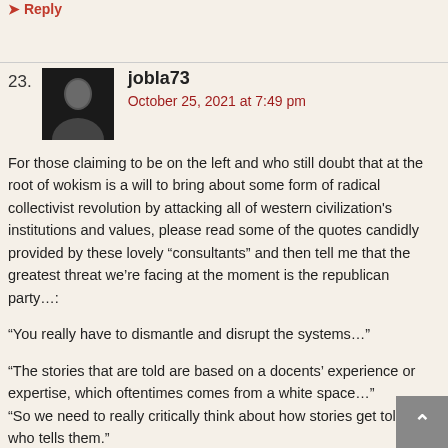Reply
23. jobla73
October 25, 2021 at 7:49 pm
For those claiming to be on the left and who still doubt that at the root of wokism is a will to bring about some form of radical collectivist revolution by attacking all of western civilization's institutions and values, please read some of the quotes candidly provided by these lovely “consultants” and then tell me that the greatest threat we’re facing at the moment is the republican party…:
“You really have to dismantle and disrupt the systems…”
“The stories that are told are based on a docents’ experience or expertise, which oftentimes comes from a white space…”
“So we need to really critically think about how stories get told and who tells them.”